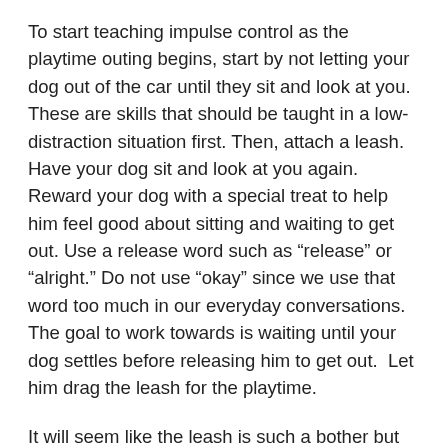To start teaching impulse control as the playtime outing begins, start by not letting your dog out of the car until they sit and look at you. These are skills that should be taught in a low-distraction situation first. Then, attach a leash. Have your dog sit and look at you again. Reward your dog with a special treat to help him feel good about sitting and waiting to get out. Use a release word such as “release” or “alright.” Do not use “okay” since we use that word too much in our everyday conversations. The goal to work towards is waiting until your dog settles before releasing him to get out.  Let him drag the leash for the playtime.
It will seem like the leash is such a bother but here is where it becomes such a wonderful tool.  As your dog (hopefully as a puppy) is playing gleefully with the other dog, walk over to the play, grab the leash and say his name. Draw him away from the play with the best treat he can imagine. Maybe use